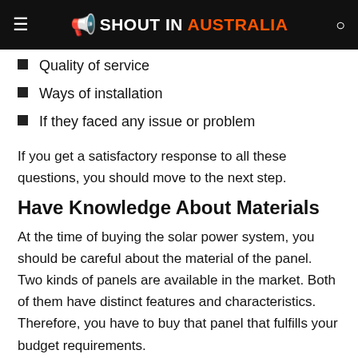SHOUT IN AUSTRALIA
Quality of service
Ways of installation
If they faced any issue or problem
If you get a satisfactory response to all these questions, you should move to the next step.
Have Knowledge About Materials
At the time of buying the solar power system, you should be careful about the material of the panel. Two kinds of panels are available in the market. Both of them have distinct features and characteristics. Therefore, you have to buy that panel that fulfills your budget requirements.
Monocrystalline: Monocrystalline panels are designed